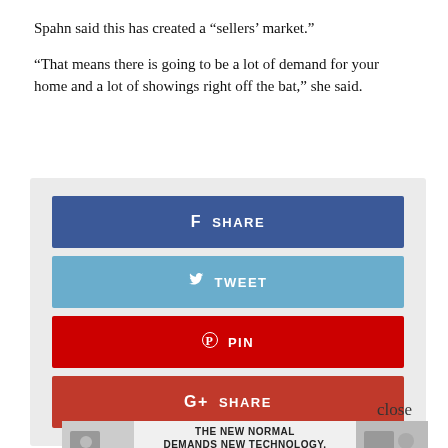Spahn said this has created a “sellers’ market.”
“That means there is going to be a lot of demand for your home and a lot of showings right off the bat,” she said.
[Figure (infographic): Social sharing buttons: Facebook SHARE (dark blue), Twitter TWEET (light blue), Pinterest PIN (dark red), Google+ SHARE (red)]
close
[Figure (infographic): Advertisement banner: THE NEW NORMAL DEMANDS NEW TECHNOLOGY. FIBER INTERNET · VOICE · DATA with people working at computers on left and right sides and a logo in center.]